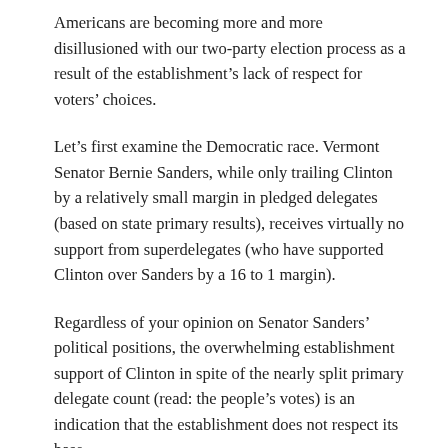Americans are becoming more and more disillusioned with our two-party election process as a result of the establishment’s lack of respect for voters’ choices.
Let’s first examine the Democratic race. Vermont Senator Bernie Sanders, while only trailing Clinton by a relatively small margin in pledged delegates (based on state primary results), receives virtually no support from superdelegates (who have supported Clinton over Sanders by a 16 to 1 margin). Regardless of your opinion on Senator Sanders’ political positions, the overwhelming establishment support of Clinton in spite of the nearly split primary delegate count (read: the people’s votes) is an indication that the establishment does not respect its base.
In a recent interview after winning several primaries by enormous margins, Senator Sanders asked superdelegates, “If a